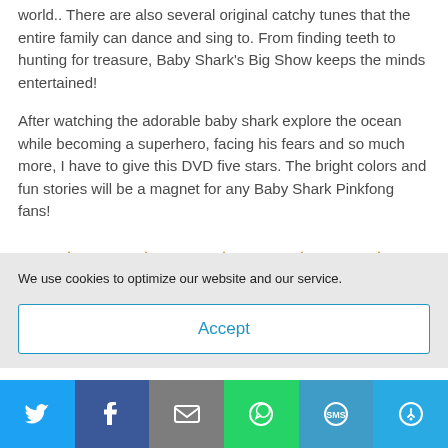world.. There are also several original catchy tunes that the entire family can dance and sing to. From finding teeth to hunting for treasure, Baby Shark’s Big Show keeps the minds entertained!
After watching the adorable baby shark explore the ocean while becoming a superhero, facing his fears and so much more, I have to give this DVD five stars. The bright colors and fun stories will be a magnet for any Baby Shark Pinkfong fans!
[Figure (other): Five gold/yellow triangle star rating icons displayed in a row]
We use cookies to optimize our website and our service.
Accept
[Figure (infographic): Social share bar with Twitter, Facebook, Email, WhatsApp, SMS, and More buttons]